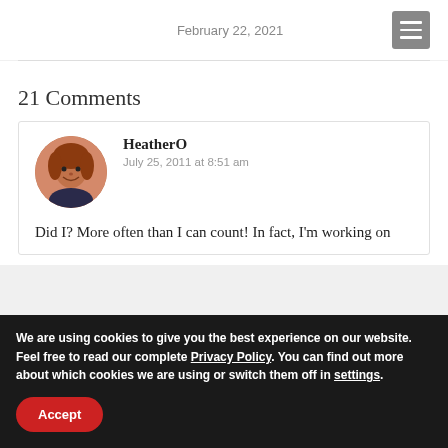February 22, 2021
21 Comments
HeatherO
July 25, 2011 at 8:51 am
Did I? More often than I can count! In fact, I'm working on
We are using cookies to give you the best experience on our website. Feel free to read our complete Privacy Policy. You can find out more about which cookies we are using or switch them off in settings.